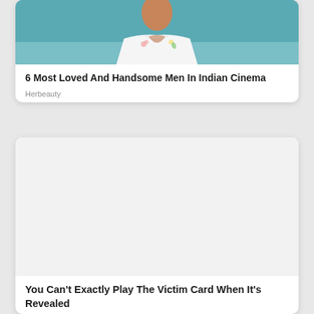[Figure (photo): Top portion of a person wearing a white open-collar shirt with floral embroidery, against a teal/blue background. Only the torso and lower neck area visible.]
6 Most Loved And Handsome Men In Indian Cinema
Herbeauty
[Figure (photo): Large image placeholder area (white/light gray), content not visible.]
You Can't Exactly Play The Victim Card When It's Revealed